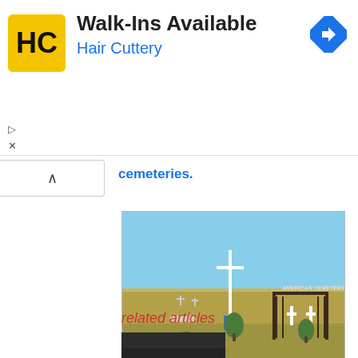[Figure (other): Hair Cuttery advertisement banner with HC logo, 'Walk-Ins Available' heading, 'Hair Cuttery' subtitle in blue, and a blue navigation arrow icon on the right]
cemeteries.
[Figure (photo): Street view photo of a rural prairie cemetery with a tall white cross/pole, iron gate with two white crosses, headstones scattered on dry grassland, flat horizon under blue sky. Sign reads 'AMERICAN CEMETERY'.]
related articles
[Figure (photo): Small thumbnail image, dark brownish tones, partially visible at bottom of page]